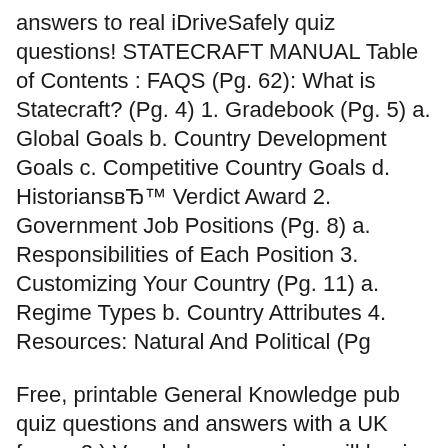answers to real iDriveSafely quiz questions! STATECRAFT MANUAL Table of Contents : FAQS (Pg. 62): What is Statecraft? (Pg. 4) 1. Gradebook (Pg. 5) a. Global Goals b. Country Development Goals c. Competitive Country Goals d. Historians'™ Verdict Award 2. Government Job Positions (Pg. 8) a. Responsibilities of Each Position 3. Customizing Your Country (Pg. 11) a. Regime Types b. Country Attributes 4. Resources: Natural And Political (Pg
Free, printable General Knowledge pub quiz questions and answers with a UK focus. 2.) Vocabulary exercise - will begin April 4th at beginning of Turn Three. details to come 3.) Final